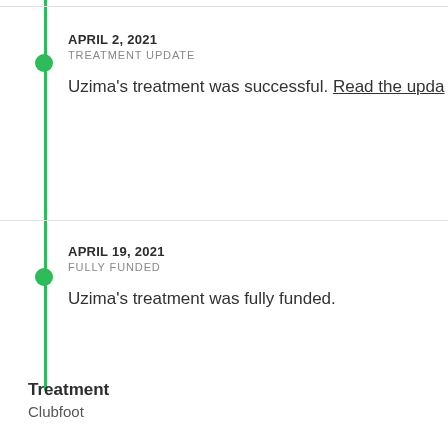APRIL 2, 2021
TREATMENT UPDATE
Uzima's treatment was successful. Read the upda
APRIL 19, 2021
FULLY FUNDED
Uzima's treatment was fully funded.
Treatment
Clubfoot